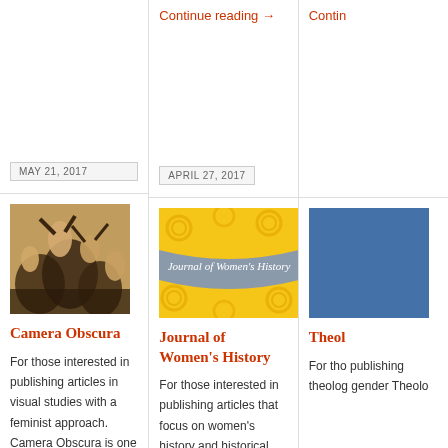Continue reading →
Continue reading →
MAY 21, 2017
APRIL 27, 2017
[Figure (photo): Black and white sepia photo of people]
Camera Obscura
For those interested in publishing articles in visual studies with a feminist approach. Camera Obscura is one of the premier journals
[Figure (illustration): Journal of Women's History cover - yellow with grey banner]
Journal of Women's History
For those interested in publishing articles that focus on women's history and historical constructions of
[Figure (illustration): Blue cover image, partially cropped]
Theol…
For tho… publishing theolog… gender… Theolo…